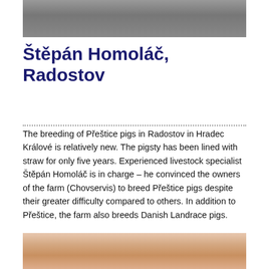[Figure (photo): Top portion of a person's face/shoulder photo, cropped at top of page]
Štěpán Homoláč, Radostov
The breeding of Přeštice pigs in Radostov in Hradec Králové is relatively new. The pigsty has been lined with straw for only five years. Experienced livestock specialist Štěpán Homoláč is in charge – he convinced the owners of the farm (Chovservis) to breed Přeštice pigs despite their greater difficulty compared to others. In addition to Přeštice, the farm also breeds Danish Landrace pigs.
[Figure (photo): Bottom portion showing a person's head among pigs, cropped at bottom of page]